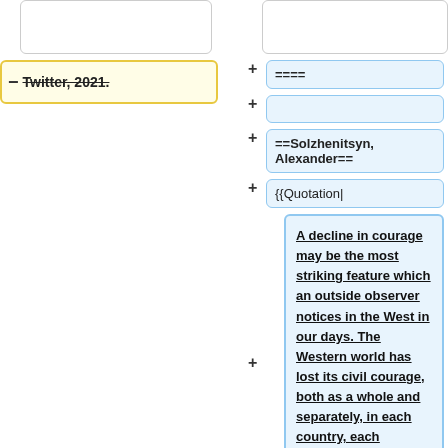Twitter, 2021.
====
==Solzhenitsyn, Alexander==
{{Quotation|
A decline in courage may be the most striking feature which an outside observer notices in the West in our days. The Western world has lost its civil courage, both as a whole and separately, in each country, each government, each political party, and, of course, in the United Nations. Such a decline in courage is